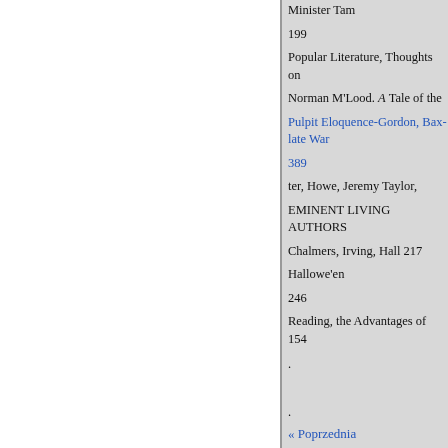Minister Tam
199
Popular Literature, Thoughts on
Norman M'Lood. A Tale of the
Pulpit Eloquence-Gordon, Bax-
late War
389
ter, Howe, Jeremy Taylor,
EMINENT LIVING AUTHORS
Chalmers, Irving, Hall 217
Hallowe'en
246
Reading, the Advantages of 154
« Poprzednia